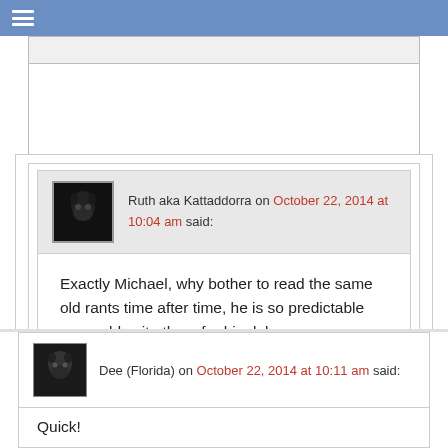☰
Ruth aka Kattaddorra on October 22, 2014 at 10:04 am said:
Exactly Michael, why bother to read the same old rants time after time, he is so predictable we could write them for him lol
Reply ↓
Dee (Florida) on October 22, 2014 at 10:11 am said:
Quick!